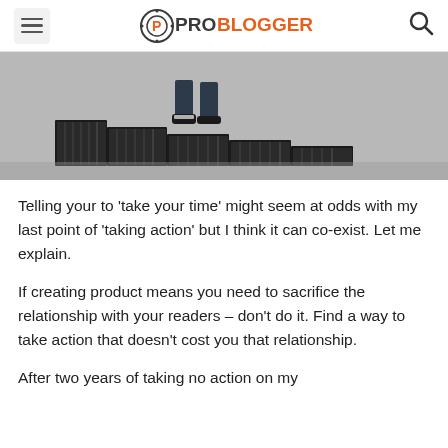ProBlogger
[Figure (photo): Person's feet standing on steps made of stacked books, viewed from above]
Telling your to ‘take your time’ might seem at odds with my last point of ‘taking action’ but I think it can co-exist. Let me explain.
If creating product means you need to sacrifice the relationship with your readers – don’t do it. Find a way to take action that doesn’t cost you that relationship.
After two years of taking no action on my